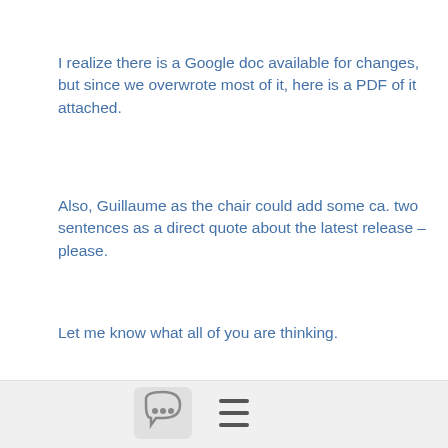I realize there is a Google doc available for changes, but since we overwrote most of it, here is a PDF of it attached.
Also, Guillaume as the chair could add some ca. two sentences as a direct quote about the latest release – please.
Let me know what all of you are thinking.
Filip Čúzy
Marketing Specialist
[Figure (other): Bottom navigation bar with a chat bubble icon button and a hamburger menu icon]